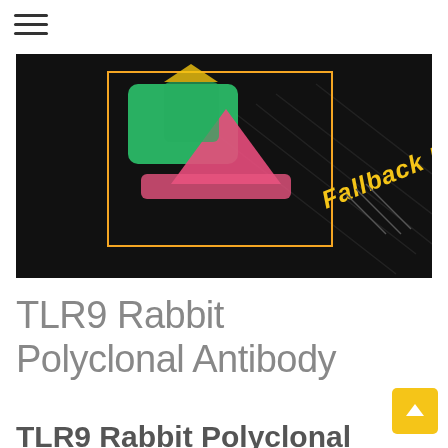[Figure (illustration): Fallback placeholder image with black background, colorful mountain/landscape icon inside an orange border box, and yellow italic bold text 'Fallback Image' overlaid diagonally]
TLR9 Rabbit Polyclonal Antibody
TLR9 Rabbit Polyclonal